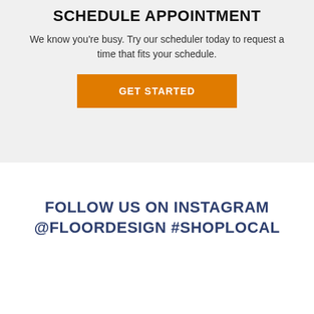SCHEDULE APPOINTMENT
We know you're busy. Try our scheduler today to request a time that fits your schedule.
GET STARTED
FOLLOW US ON INSTAGRAM @FLOORDESIGN #SHOPLOCAL